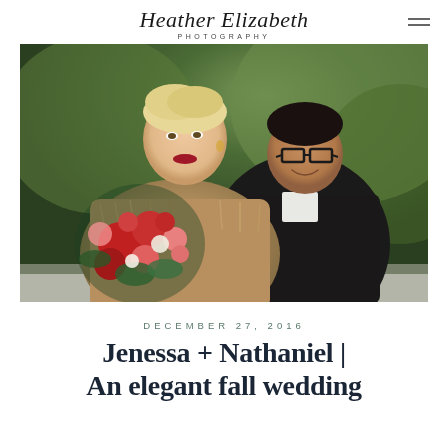Heather Elizabeth PHOTOGRAPHY
[Figure (photo): Wedding couple portrait: bride with blonde hair wearing fur stole holding red and pink floral bouquet, groom in dark suit with glasses, embracing outdoors with green foliage background]
DECEMBER 27, 2016
Jenessa + Nathaniel | An elegant fall wedding